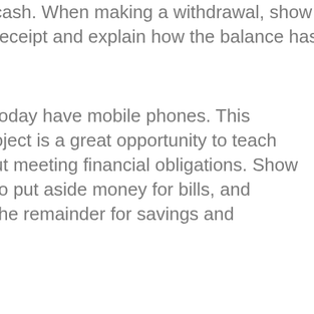cash. When making a withdrawal, show receipt and explain how the balance has
today have mobile phones. This oject is a great opportunity to teach ut meeting financial obligations. Show to put aside money for bills, and the remainder for savings and
jobs are a standard way for teenagers oney. If you believe they are handling ey responsibly you might consider a credit” card. These work similarly to a d except they use the owner’s money credit and are an excellent tool for ow “plastic” works – when there’s no there’s no more left.
arly that plastic money is not limitless